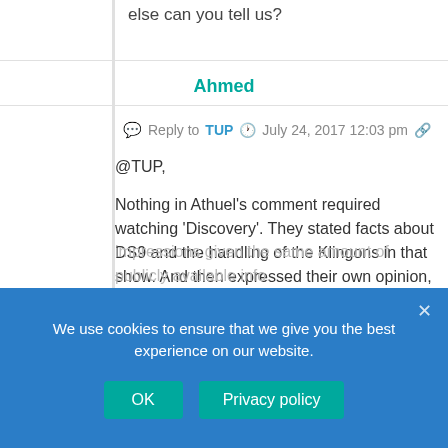else can you tell us?
Ahmed
Reply to TUP  July 24, 2017 12:03 pm
@TUP,

Nothing in Athuel's comment required watching 'Discovery'. They stated facts about DS9 and the handling of the Klingons in that show. And then expressed their own opinion, rightly or wrong, about the new Klingon based on what was shown in the trailers.

I guess it's perfectly okay for you to keep on cheerleading the show, even though you haven't seen it yet, but it is intolerable for others to share their own impressions given the same amount of publicly available info.
We use cookies to ensure that we give you the best experience on our website.
OK
Privacy policy